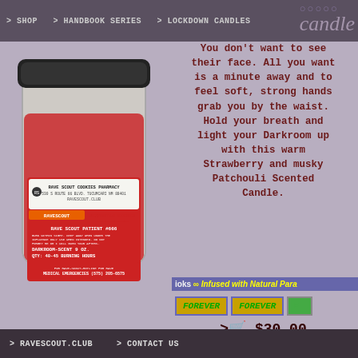> SHOP   > HANDBOOK SERIES   > LOCKDOWN CANDLES
MY CART
[Figure (photo): Glass jar candle with red wax, black lid, and a prescription-style label reading 'Rave Scout Cookies Pharmacy, Ravescout.club, Rave Scout Patient #666, DARKROOM-SCENT 9 OZ., QTY: 40-45 BURNING HOURS']
You don't want to see their face. All you want is a minute away and to feel soft, strong hands grab you by the waist. Hold your breath and light your Darkroom up with this warm Strawberry and musky Patchouli Scented Candle.
ioks ∞ Infused with Natural Para
FOREVER   FOREVER   F
> 🛒 $30.00
Product not found
ited our dear friends and fundraising
> RAVESCOUT.CLUB   > CONTACT US